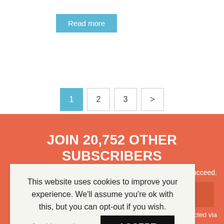Read more
1
2
3
>
JOIN 20,752 OTHER SUBSCRIBERS
sses succeed.
ollected via
this form.
This website uses cookies to improve your experience. We'll assume you're ok with this, but you can opt-out if you wish.
Cookie settings
ACCEPT